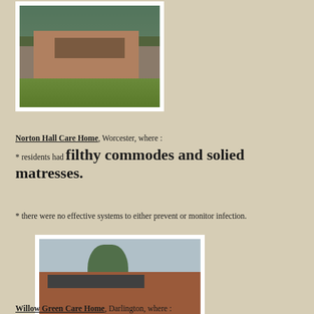[Figure (photo): Exterior photo of Norton Hall Care Home, a brick building with trees]
Norton Hall Care Home, Worcester, where :
* residents had filthy commodes and solied matresses.
* there were no effective systems to either prevent or monitor infection.
[Figure (photo): Exterior photo of Willow Green Care Home, a red brick residential care building with trees]
Willow Green Care Home, Darlington, where :